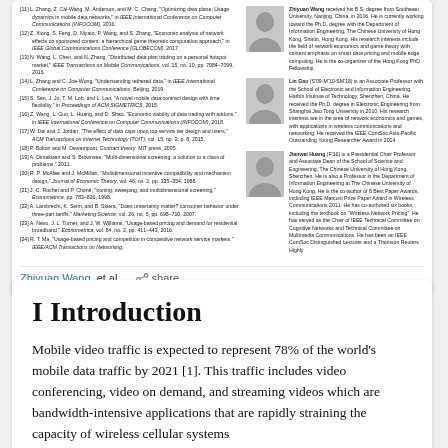[Figure (other): Document card showing references list on left and author bio photos with text on right]
Zhiyuan Wang, et al. · share
I Introduction
Mobile video traffic is expected to represent 78% of the world's mobile data traffic by 2021 [1]. This traffic includes video conferencing, video on demand, and streaming videos which are bandwidth-intensive applications that are rapidly straining the capacity of wireless cellular systems